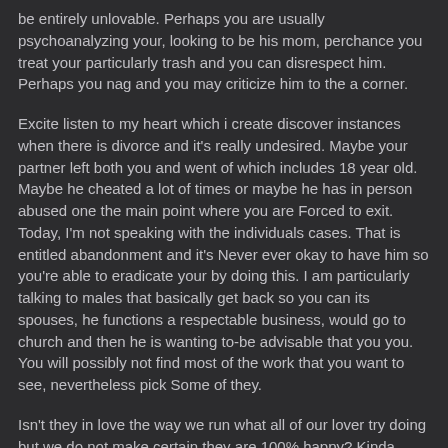be entirely unlovable. Perhaps you are usually psychoanalyzing your, looking to be his mom, perchance you treat your particularly trash and you can disrespect him. Perhaps you nag and you may criticize him to the a corner.
Excite listen to my heart which i create discover instances when there is divorce and it's really undesired. Maybe your partner left both you and went of which includes 18 year old. Maybe he cheated a lot of times or maybe he has in person abused one the main point where you are Forced to exit. Today, I'm not speaking with the individuals cases. That is entitled abandonment and it's Never ever okay to have him so you're able to eradicate your by doing this. I am particularly talking to males that basically get back so you can its spouses, he functions a respectable business, would go to church and then he is wanting to-be advisable that you you. You will possibly not find most of the work that you want to see, nevertheless pick Some of they.
Isn't they in love the way we run what all of our lover try doing but we do not make certain they are 100% happy? Kinda hypocritical best? (And you will, I'm conversing with me personally also)